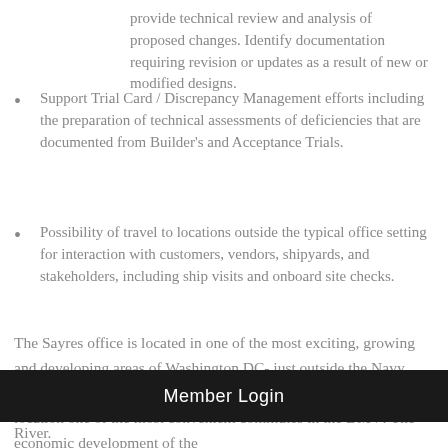provide technical review and analysis of proposed changes. Identify documentation requiring revision or updates as a result of new or modified designs.
Support Trial Card / Discrepancy Management efforts including the preparation of technical assessments of deficiencies that are documented from Builder's and Acceptance Trials.
Possibility of travel to locations outside the typical office setting for interaction with customers, vendors, shipyards, and stakeholders, including ship visits and onboard site checks.
The Sayres office is located in one of the most exciting, growing and developing areas of Washington DC- just outside the Navy Yard almost next to National's Park. Navy Yard metro makes this location one of the most convenient commutes in the DMV! The economic development of the
Member Login
River.